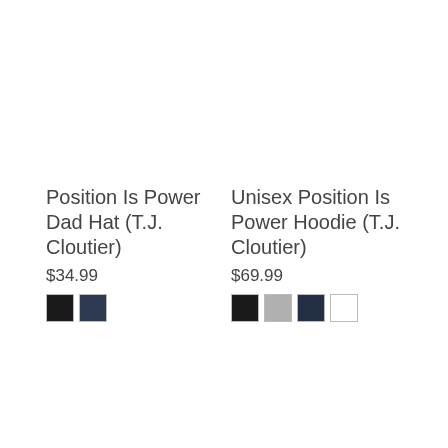Position Is Power Dad Hat (T.J. Cloutier)
$34.99
[Figure (other): Two color swatches: black and navy, bordered squares representing hat color options]
Unisex Position Is Power Hoodie (T.J. Cloutier)
$69.99
[Figure (other): Four color swatches: black, gray, dark navy, and white, bordered squares representing hoodie color options]